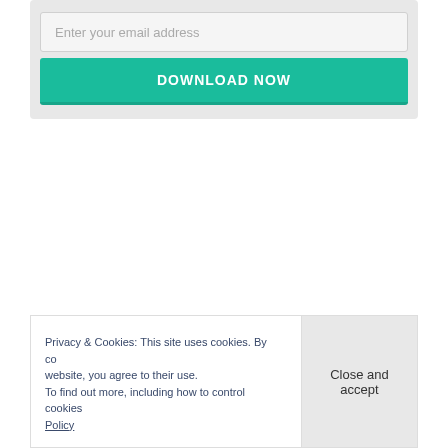Enter your email address
DOWNLOAD NOW
Privacy & Cookies: This site uses cookies. By continuing to use this website, you agree to their use. To find out more, including how to control cookies, see here: Cookie Policy
Close and accept